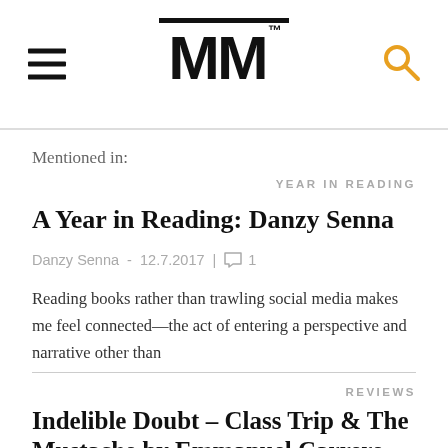MM (The Millions logo with hamburger menu and search icon)
Mentioned in:
YEAR IN READING
A Year in Reading: Danzy Senna
Danzy Senna - 12.7.2017 | 1
Reading books rather than trawling social media makes me feel connected—the act of entering a perspective and narrative other than
REVIEWS
Indelible Doubt – Class Trip & The Mustache by Emmanuel Carrere